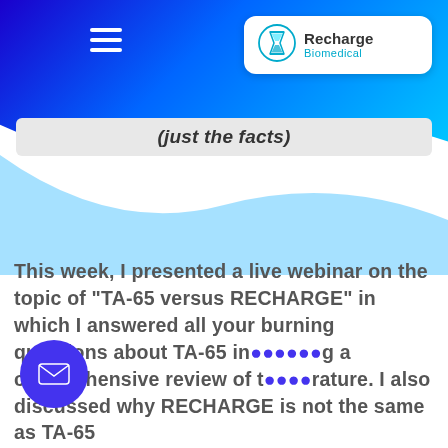[Figure (logo): Recharge Biomedical logo with hourglass icon in circle, white background rounded box, top right of header]
(just the facts)
This week, I presented a live webinar on the topic of "TA-65 versus RECHARGE" in which I answered all your burning questions about TA-65 including a comprehensive review of the literature. I also discussed why RECHARGE is not the same as TA-65